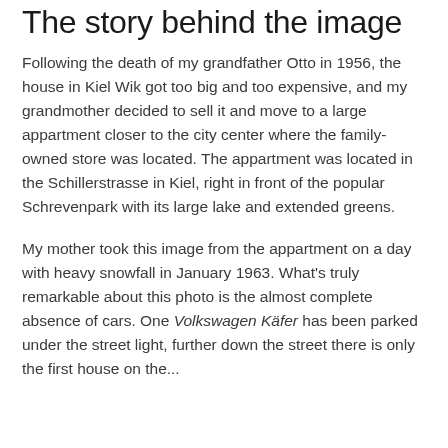The story behind the image
Following the death of my grandfather Otto in 1956, the house in Kiel Wik got too big and too expensive, and my grandmother decided to sell it and move to a large appartment closer to the city center where the family-owned store was located. The appartment was located in the Schillerstrasse in Kiel, right in front of the popular Schrevenpark with its large lake and extended greens.
My mother took this image from the appartment on a day with heavy snowfall in January 1963. What's truly remarkable about this photo is the almost complete absence of cars. One Volkswagen Käfer has been parked under the street light, further down the street there is only the first house on the...